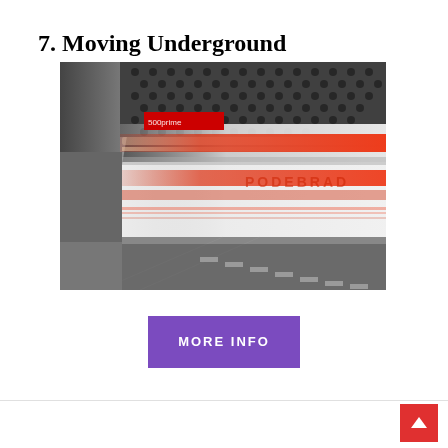7. Moving Underground
[Figure (photo): Long-exposure photograph of a subway/metro train in motion at a station, showing motion blur of red and white train stripes, curved tunnel ceiling with perforated acoustic panels, fluorescent lighting, and platform floor. Station name 'PODEBRAD' visible on train side.]
MORE INFO
^